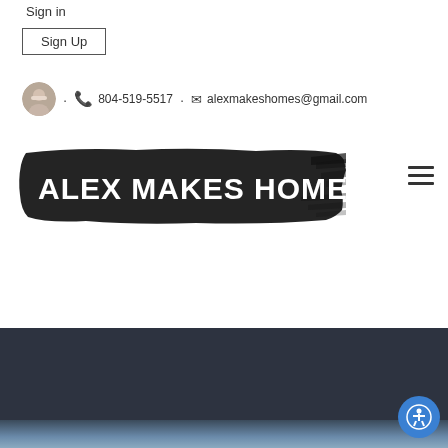Sign in
Sign Up
804-519-5517 · alexmakeshomes@gmail.com
[Figure (logo): Alex Makes Homes logo with white bold text on a black brush stroke background]
[Figure (photo): Dark blue-grey hero banner with sky visible at bottom edge]